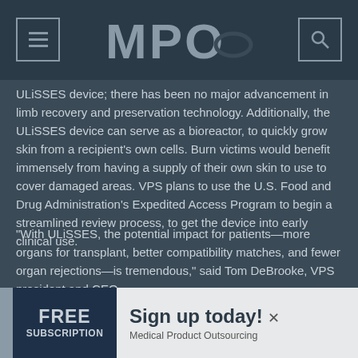MPO
ULiSSES device; there has been no major advancement in limb recovery and preservation technology. Additionally, the ULiSSES device can serve as a bioreactor, to quickly grow skin from a recipient's own cells. Burn victims would benefit immensely from having a supply of their own skin to use to cover damaged areas. VPS plans to use the U.S. Food and Drug Administration's Expedited Access Program to begin a streamlined review process, to get the device into early clinical use.
“With ULiSSES, the potential impact for patients—more organs for transplant, better compatibility matches, and fewer organ rejections—is tremendous,” said Tom DeBrooke, VPS president and CEO.
[Figure (other): Advertisement banner: FREE SUBSCRIPTION - Sign up today! Medical Product Outsourcing]